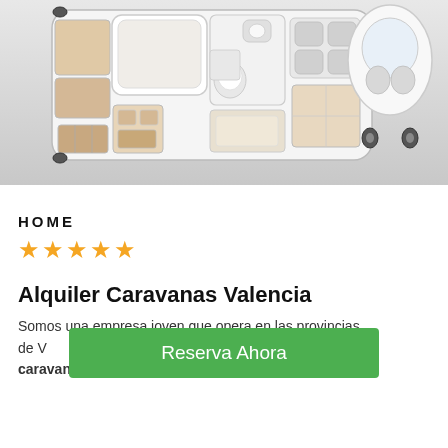[Figure (illustration): Top-down floor plan view of a camper van / motorhome showing interior layout with bed, bathroom, kitchen, and seating area, plus exterior view of the white van cab from above]
HOME
★★★★★ (5 gold stars rating)
Alquiler Caravanas Valencia
Somos una empresa joven que opera en las provincias de V... caravanas en cualquier lugar de la geografía
[Figure (other): Green call-to-action button overlaid on text reading 'Reserva Ahora']